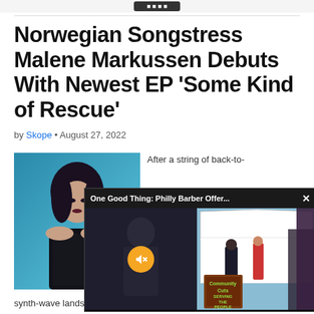Norwegian Songstress Malene Markussen Debuts With Newest EP 'Some Kind of Rescue'
by Skope • August 27, 2022
[Figure (photo): Photo of Malene Markussen, a woman with dark hair wearing a black lace top, posed against a blue background]
After a string of back-to-
[Figure (screenshot): Pop-up video overlay with header 'One Good Thing: Philly Barber Offer...' showing a video of a barber/community event with a muted button and a chalkboard sign reading 'Community Cuts Serving the People']
synth-wave landsca